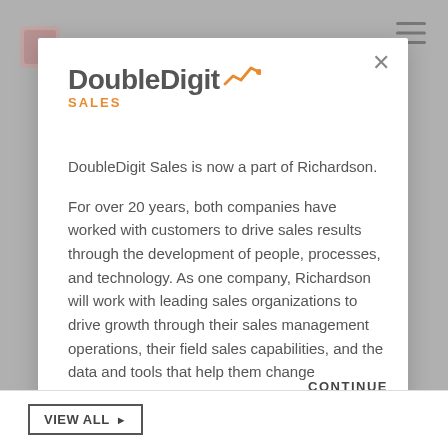[Figure (logo): DoubleDigit Sales logo with orange line-chart icon above text 'DoubleDigit' in dark gray bold and 'SALES' in orange below]
DoubleDigit Sales is now a part of Richardson.
For over 20 years, both companies have worked with customers to drive sales results through the development of people, processes, and technology. As one company, Richardson will work with leading sales organizations to drive growth through their sales management operations, their field sales capabilities, and the data and tools that help them change